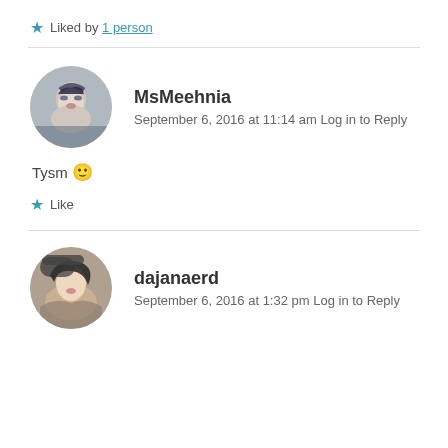Liked by 1 person
MsMeehnia
September 6, 2016 at 11:14 am Log in to Reply
Tysm 🙂
Like
dajanaerd
September 6, 2016 at 1:32 pm Log in to Reply